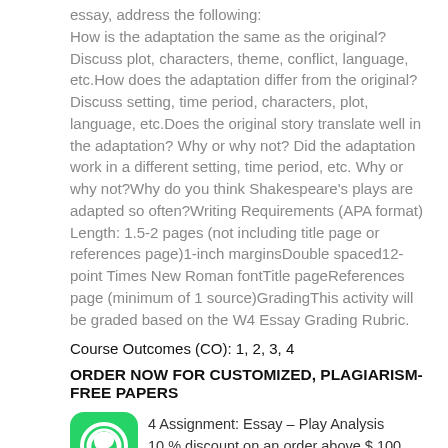essay, address the following: How is the adaptation the same as the original? Discuss plot, characters, theme, conflict, language, etc.How does the adaptation differ from the original? Discuss setting, time period, characters, plot, language, etc.Does the original story translate well in the adaptation? Why or why not? Did the adaptation work in a different setting, time period, etc. Why or why not?Why do you think Shakespeare's plays are adapted so often?Writing Requirements (APA format) Length: 1.5-2 pages (not including title page or references page)1-inch marginsDouble spaced12-point Times New Roman fontTitle pageReferences page (minimum of 1 source)GradingThis activity will be graded based on the W4 Essay Grading Rubric.
Course Outcomes (CO): 1, 2, 3, 4
ORDER NOW FOR CUSTOMIZED, PLAGIARISM-FREE PAPERS
[Figure (logo): WhatsApp green rounded square icon]
4 Assignment: Essay – Play Analysis
10 % discount on an order above $ 100 Use the following coupon code : NURSING10